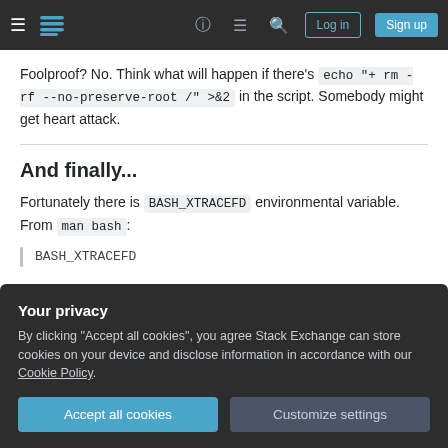Stack Exchange navigation bar with Log in and Sign up buttons
Foolproof? No. Think what will happen if there's echo "+ rm -rf --no-preserve-root /" >&2 in the script. Somebody might get heart attack.
And finally...
Fortunately there is BASH_XTRACEFD environmental variable. From man bash:
BASH_XTRACEFD
[Figure (screenshot): Privacy cookie consent overlay with Accept all cookies and Customize settings buttons]
We can use it like this: